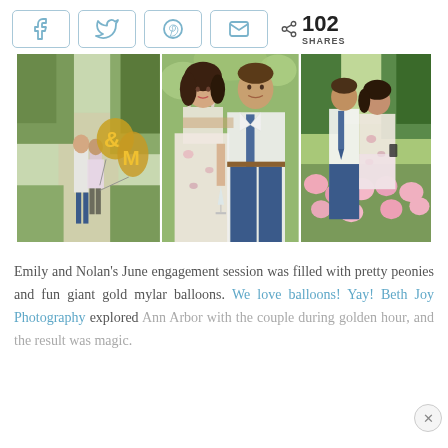[Figure (infographic): Social share bar with Facebook, Twitter, Pinterest, and email icon buttons, plus a share icon showing 102 SHARES]
[Figure (photo): Three-panel wedding engagement photo collage: left panel shows couple walking away down garden path holding gold mylar balloons spelling '&'; center panel shows close-up portrait of bride and groom smiling in garden; right panel shows couple standing among pink peony flowers]
Emily and Nolan's June engagement session was filled with pretty peonies and fun giant gold mylar balloons. We love balloons! Yay! Beth Joy Photography explored Ann Arbor with the couple during golden hour, and the result was magic.